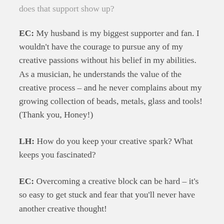does that support show up?
EC: My husband is my biggest supporter and fan. I wouldn't have the courage to pursue any of my creative passions without his belief in my abilities. As a musician, he understands the value of the creative process – and he never complains about my growing collection of beads, metals, glass and tools! (Thank you, Honey!)
LH: How do you keep your creative spark? What keeps you fascinated?
EC: Overcoming a creative block can be hard – it's so easy to get stuck and fear that you'll never have another creative thought!